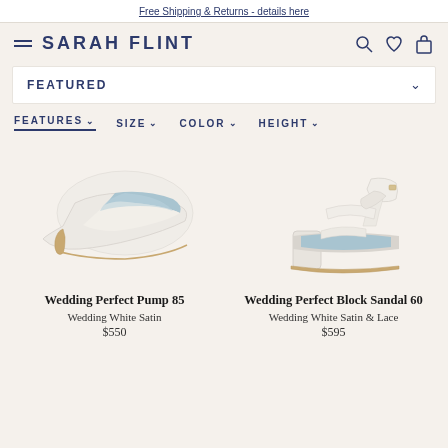Free Shipping & Returns - details here
SARAH FLINT
FEATURED
FEATURES  SIZE  COLOR  HEIGHT
[Figure (photo): White satin stiletto pump shoe - Wedding Perfect Pump 85]
[Figure (photo): White satin block heel sandal with ankle strap - Wedding Perfect Block Sandal 60]
Wedding Perfect Pump 85
Wedding White Satin
$550
Wedding Perfect Block Sandal 60
Wedding White Satin & Lace
$595